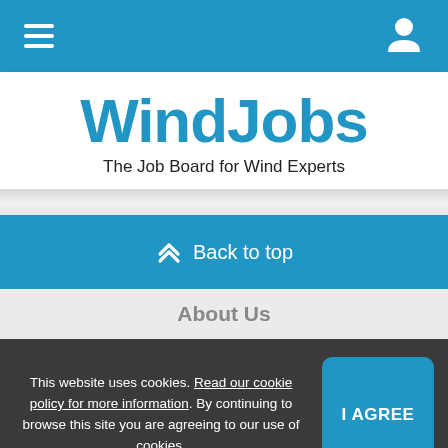WindJobs navigation bar with hamburger menu and user icon
[Figure (logo): WindJobs logo — bold blue text 'WindJobs' with tagline 'The Job Board for Wind Experts']
Back to top
About Us
This website uses cookies. Read our cookie policy for more information. By continuing to browse this site you are agreeing to our use of cookies.